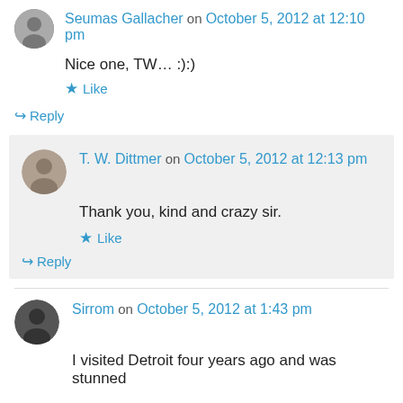Seumas Gallacher on October 5, 2012 at 12:10 pm
Nice one, TW… :):)
★ Like
↪ Reply
T. W. Dittmer on October 5, 2012 at 12:13 pm
Thank you, kind and crazy sir.
★ Like
↪ Reply
Sirrom on October 5, 2012 at 1:43 pm
I visited Detroit four years ago and was stunned